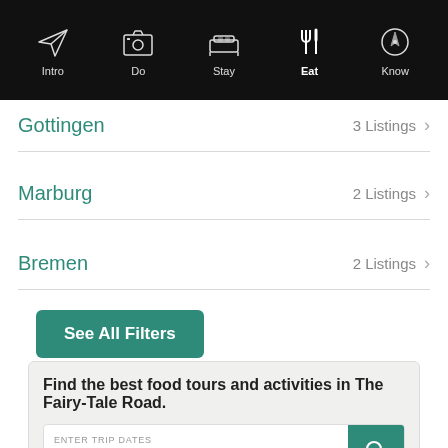Intro | Do | Stay | Eat | Know
Gottingen — 3 Listings
Marburg — 2 Listings
Bremen — 2 Listings
See All Filters
Find the best food tours and activities in The Fairy-Tale Road.
ENTER TRIP DATES Aug 28 → Aug 30